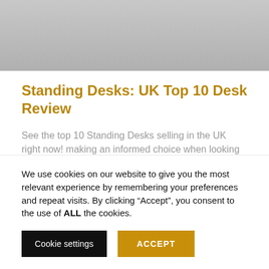[Figure (photo): Gray gradient background image at the top of the page]
Standing Desks: UK Top 10 Desk Review
See the top 10 Standing Desks selling in the UK right now! making an informed choice when looking for the best desks we can help a buyer find the best options based on popularity. The
We use cookies on our website to give you the most relevant experience by remembering your preferences and repeat visits. By clicking “Accept”, you consent to the use of ALL the cookies.
Cookie settings | ACCEPT